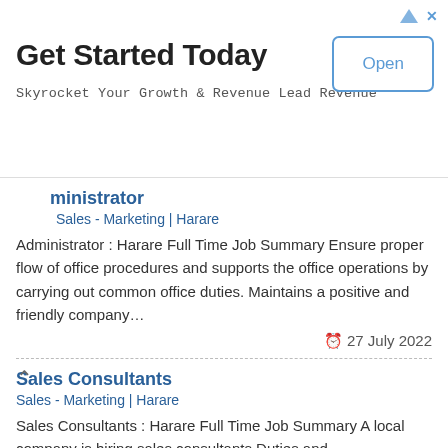[Figure (screenshot): Advertisement banner: 'Get Started Today' with 'Open' button and subtitle 'Skyrocket Your Growth & Revenue Lead Revenue']
Administrator
Sales - Marketing | Harare
Administrator : Harare Full Time Job Summary Ensure proper flow of office procedures and supports the office operations by carrying out common office duties. Maintains a positive and friendly company…
27 July 2022
Sales Consultants
Sales - Marketing | Harare
Sales Consultants : Harare Full Time Job Summary A local company is hiring sales consultants Duties and Responsibilities Job Related Qualifications and Experience Marketing certificate/degree IT knowledge added advantage How…
27 May 2022
CAFÉ MANAGER VACANCY
Sales - Marketing | Ha…